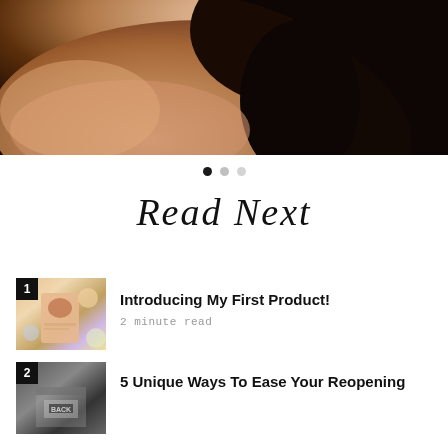[Figure (photo): Close-up photo of a woman's bare back and shoulders with dark wavy hair, against a warm beige background]
• • •  (carousel dots indicator, three dots, first filled)
Read Next
[Figure (photo): Thumbnail image labeled 1, showing a hand holding a skincare product card]
Introducing My First Product!
2 minute read
[Figure (photo): Thumbnail image labeled 2, showing a black and white storefront or sign]
5 Unique Ways To Ease Your Reopening